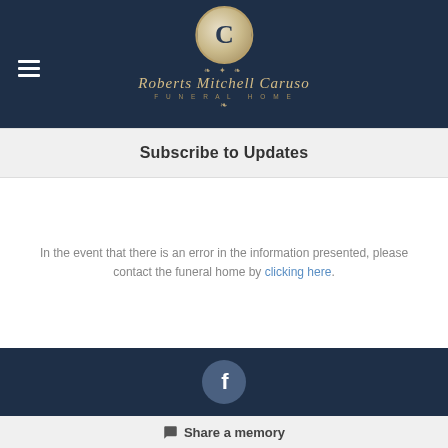[Figure (logo): Roberts Mitchell Caruso Funeral Home logo with circular emblem featuring letter C on dark navy background]
Subscribe to Updates
In the event that there is an error in the information presented, please contact the funeral home by clicking here.
[Figure (illustration): Facebook icon in a circular button on dark navy footer bar]
Share a memory